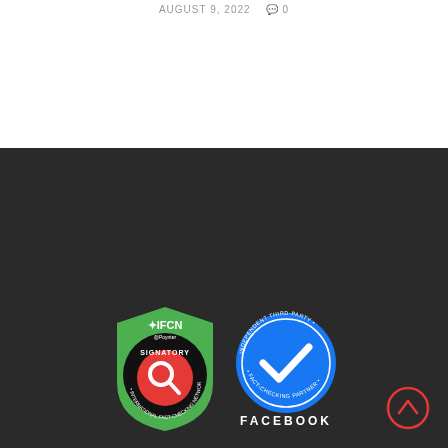AUGUST 9, 2022   💬 0
[Figure (logo): IFCN Signatory badge (green shield with red circle, International Fact-Checking Network logo) and Facebook Independent Third-Party Fact-Checking Partner badge (blue circle with checkmark), with FACEBOOK text below]
ABOUT FACTLY
FACTLY is one of the well known Data Journalism/Public Information portals in India. Each news story on FACTLY is backed